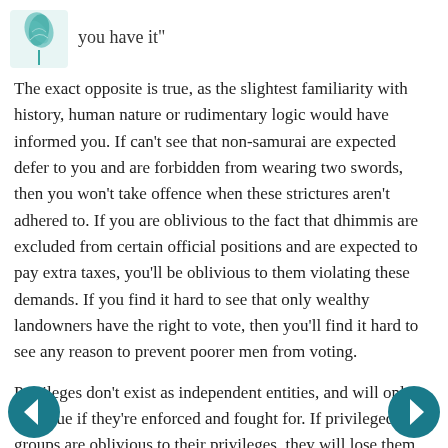[Figure (logo): Teal/green leaf logo icon in top left corner]
you have it"
The exact opposite is true, as the slightest familiarity with history, human nature or rudimentary logic would have informed you. If can't see that non-samurai are expected defer to you and are forbidden from wearing two swords, then you won't take offence when these strictures aren't adhered to. If you are oblivious to the fact that dhimmis are excluded from certain official positions and are expected to pay extra taxes, you'll be oblivious to them violating these demands. If you find it hard to see that only wealthy landowners have the right to vote, then you'll find it hard to see any reason to prevent poorer men from voting.
Privileges don't exist as independent entities, and will only continue if they're enforced and fought for. If privileged groups are oblivious to their privileges, they will lose them.
Of all the idiotic cliches concerning leftist obsession with privilege, the concept that privileged groups can't see their
[Figure (other): Left navigation arrow button (teal circle with white left arrow)]
[Figure (other): Right navigation arrow button (teal circle with white right arrow)]